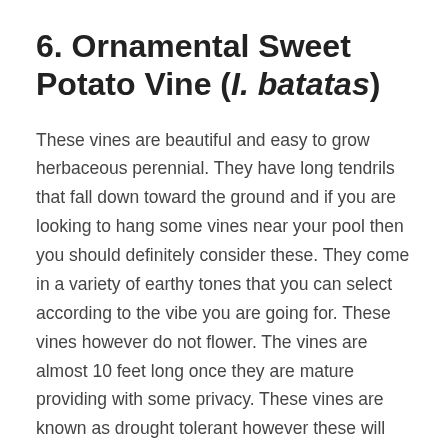6. Ornamental Sweet Potato Vine (I. batatas)
These vines are beautiful and easy to grow herbaceous perennial. They have long tendrils that fall down toward the ground and if you are looking to hang some vines near your pool then you should definitely consider these. They come in a variety of earthy tones that you can select according to the vibe you are going for. These vines however do not flower. The vines are almost 10 feet long once they are mature providing with some privacy. These vines are known as drought tolerant however these will grow vigorously with frequent watering.